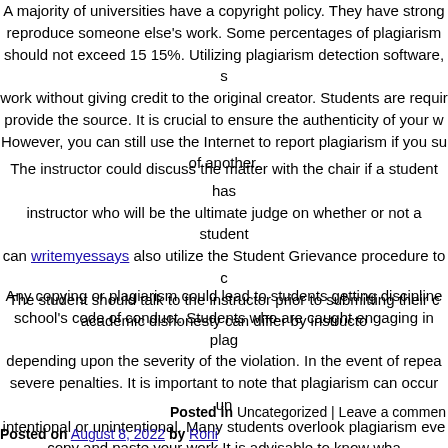A majority of universities have a copyright policy. They have strong reproduce someone else's work. Some percentages of plagiarism should not exceed 15 15%. Utilizing plagiarism detection software, s work without giving credit to the original creator. Students are requir provide the source. It is crucial to ensure the authenticity of your w However, you can still use the Internet to report plagiarism if you su of another.
The instructor could discuss the matter with the chair if a student has instructor who will be the ultimate judge on whether or not a student can writemyessays also utilize the Student Grievance procedure to c The student should talk to the instructor prior to submitting their c academic dishonesty can differ by instructo
Any copying or plagiarism could lead to students getting discipline school's code of conduct. Students who are caught engaging in plag depending upon the severity of the violation. In the event of repea severe penalties. It is important to note that plagiarism can occur un intentional or unintentional. Many students overlook plagiarism eve copy and paste your work It is advisable to know wha
Posted in Uncategorized | Leave a commen
Posted on August 8, 2022 by Roni